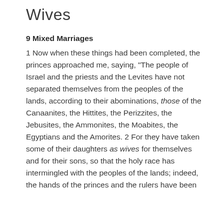Wives
9 Mixed Marriages
1 Now when these things had been completed, the princes approached me, saying, "The people of Israel and the priests and the Levites have not separated themselves from the peoples of the lands, according to their abominations, those of the Canaanites, the Hittites, the Perizzites, the Jebusites, the Ammonites, the Moabites, the Egyptians and the Amorites. 2 For they have taken some of their daughters as wives for themselves and for their sons, so that the holy race has intermingled with the peoples of the lands; indeed, the hands of the princes and the rulers have been